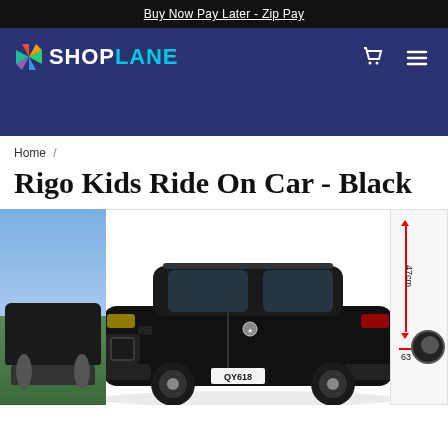Buy Now Pay Later - Zip Pay
[Figure (logo): ShopLane logo with colorful pinwheel icon and teal/white text on dark navy background]
[Figure (screenshot): E-commerce product page showing 'Rigo Kids Ride On Car - Black' with product images including a black toy SUV (model QY618) displayed in a horizontal image strip]
Home /
Rigo Kids Ride On Car - Black